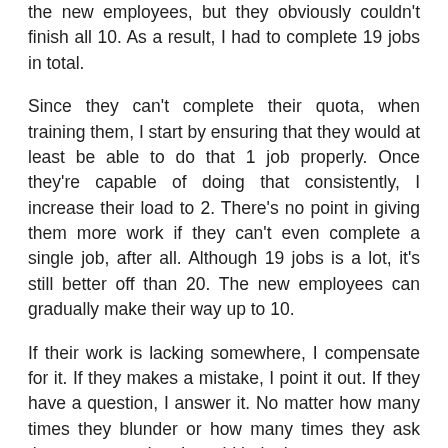the new employees, but they obviously couldn't finish all 10. As a result, I had to complete 19 jobs in total.
Since they can't complete their quota, when training them, I start by ensuring that they would at least be able to do that 1 job properly. Once they're capable of doing that consistently, I increase their load to 2. There's no point in giving them more work if they can't even complete a single job, after all. Although 19 jobs is a lot, it's still better off than 20. The new employees can gradually make their way up to 10.
If their work is lacking somewhere, I compensate for it. If they makes a mistake, I point it out. If they have a question, I answer it. No matter how many times they blunder or how many times they ask the same question, I would help them.